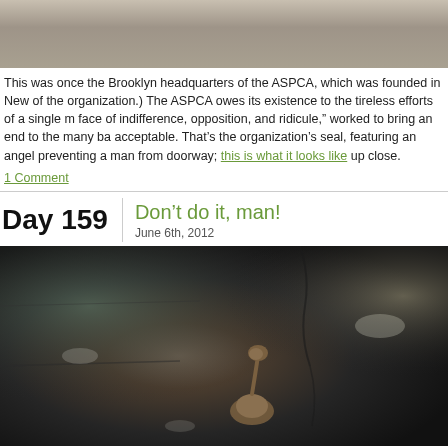[Figure (photo): Top portion of a photo showing a pavement/sidewalk surface, gray and textured, part of a building exterior.]
This was once the Brooklyn headquarters of the ASPCA, which was founded in New of the organization.) The ASPCA owes its existence to the tireless efforts of a single m face of indifference, opposition, and ridicule," worked to bring an end to the many ba acceptable. That's the organization's seal, featuring an angel preventing a man from doorway; this is what it looks like up close.
1 Comment
Day 159  Don't do it, man!  June 6th, 2012
[Figure (photo): Close-up photo of a dark stone or concrete surface with a bronze or metal sculptural detail visible — appears to be a figure or relief element on a building facade, possibly the ASPCA seal detail mentioned in the text above.]